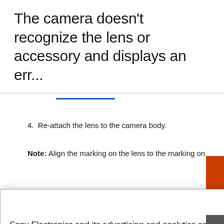The camera doesn't recognize the lens or accessory and displays an err...
4.  Re-attach the lens to the camera body.
Note: Align the marking on the lens to the marking on
Sony Electronics and its advertising and analytics and similar partners use cookies to operate this website, personalize your experience, serve advertisements and/or analyze traffic. By using our site, you acknowledge this notice and agree to the use of cookies on our site and to our Privacy Policy.
Manage Cookies